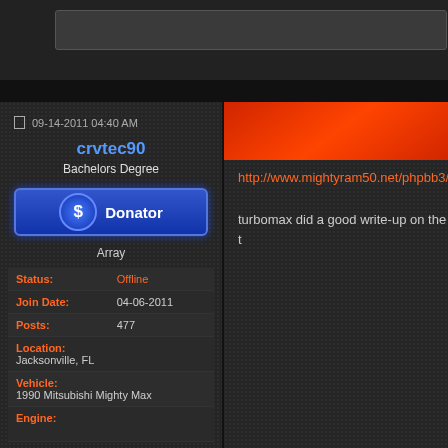09-14-2011 04:40 AM
crvtec90
Bachelors Degree
[Figure (illustration): Blue Donator badge button with dollar sign icon]
Array
| Status: | Offline |
| Join Date: | 04-06-2011 |
| Posts: | 477 |
| Location: | Jacksonville, FL |
| Vehicle: | 1990 Mitsubishi Mighty Max |
| Engine: |  |
http://www.mightyram50.net/phpbb3/v...
turbomax did a good write-up on the t...